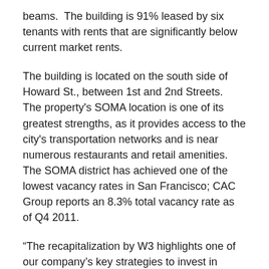beams.  The building is 91% leased by six tenants with rents that are significantly below current market rents.
The building is located on the south side of Howard St., between 1st and 2nd Streets.  The property's SOMA location is one of its greatest strengths, as it provides access to the city's transportation networks and is near numerous restaurants and retail amenities. The SOMA district has achieved one of the lowest vacancy rates in San Francisco; CAC Group reports an 8.3% total vacancy rate as of Q4 2011.
“The recapitalization by W3 highlights one of our company’s key strategies to invest in multiple types of deal structures in markets with great employment fundamentals.” said Gary Wong, Principal at W3 Partners.
This is W3’s third close over the last twelve months in W3’s